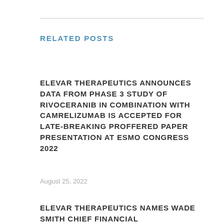RELATED POSTS
ELEVAR THERAPEUTICS ANNOUNCES DATA FROM PHASE 3 STUDY OF RIVOCERANIB IN COMBINATION WITH CAMRELIZUMAB IS ACCEPTED FOR LATE-BREAKING PROFFERED PAPER PRESENTATION AT ESMO CONGRESS 2022
August 25, 2022
ELEVAR THERAPEUTICS NAMES WADE SMITH CHIEF FINANCIAL